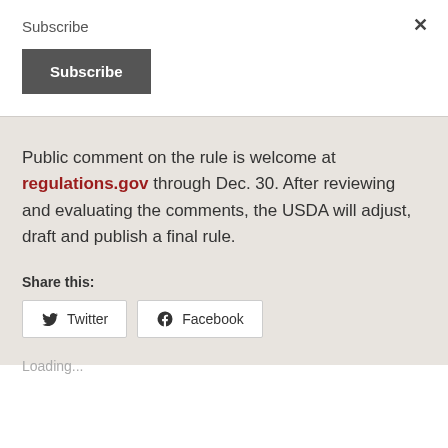Subscribe
Subscribe
Public comment on the rule is welcome at regulations.gov through Dec. 30. After reviewing and evaluating the comments, the USDA will adjust, draft and publish a final rule.
Share this:
Twitter
Facebook
Loading...